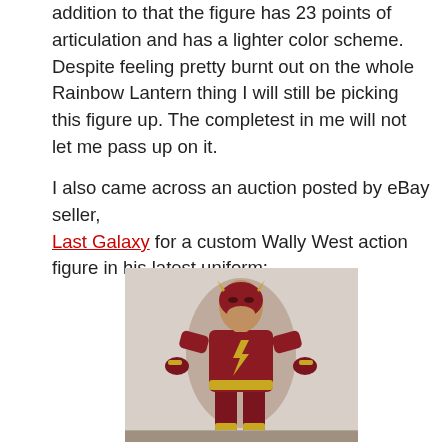addition to that the figure has 23 points of articulation and has a lighter color scheme. Despite feeling pretty burnt out on the whole Rainbow Lantern thing I will still be picking this figure up. The completest in me will not let me pass up on it.

I also came across an auction posted by eBay seller, Last Galaxy for a custom Wally West action figure in his latest uniform:
[Figure (photo): A custom Wally West (The Flash) action figure in a dark red/maroon uniform with gold lightning bolt emblem on chest, gold wrist bands and belt, posed with arms slightly out to sides, standing against a light background.]